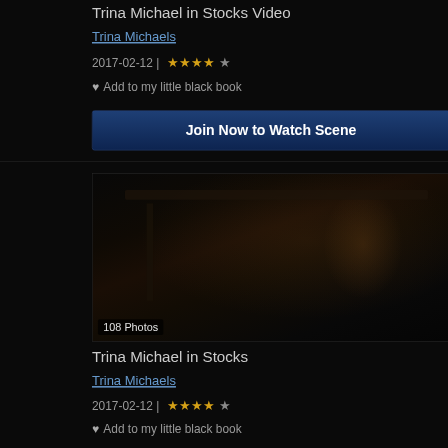Trina Michael in Stocks Video
Trina Michaels
2017-02-12 | ★★★★☆
♥ Add to my little black book
Join Now to Watch Scene
[Figure (photo): Dark photo showing a woman with long hair in stocks bondage device, dimly lit scene]
108 Photos
Trina Michael in Stocks
Trina Michaels
2017-02-12 | ★★★★☆
♥ Add to my little black book
Join Now to View Photos